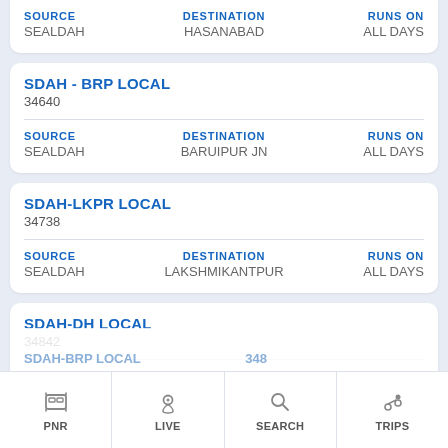SOURCE: SEALDAH | DESTINATION: HASANABAD | RUNS ON: ALL DAYS
SDAH - BRP LOCAL
34640
SOURCE: SEALDAH | DESTINATION: BARUIPUR JN | RUNS ON: ALL DAYS
SDAH-LKPR LOCAL
34738
SOURCE: SEALDAH | DESTINATION: LAKSHMIKANTPUR | RUNS ON: ALL DAYS
SDAH-DH LOCAL
34842
SOURCE: SEALDAH | DESTINATION: DIAMOND HARBOUR | RUNS ON: ALL DAYS
PNR | LIVE | SEARCH | TRIPS